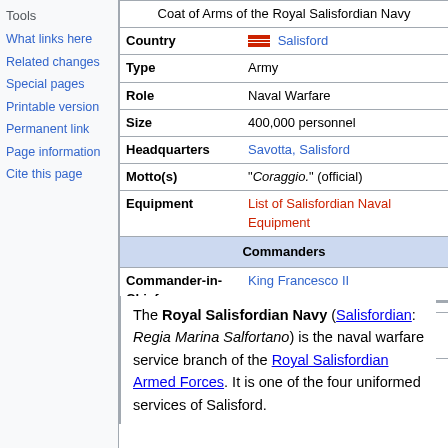Tools
What links here
Related changes
Special pages
Printable version
Permanent link
Page information
Cite this page
| Coat of Arms of the Royal Salisfordian Navy |
| --- |
| Country | Salisford |
| Type | Army |
| Role | Naval Warfare |
| Size | 400,000 personnel |
| Headquarters | Savotta, Salisford |
| Motto(s) | "Coraggio." (official) |
| Equipment | List of Salisfordian Naval Equipment |
| Commanders |  |
| Commander-in-Chief | King Francesco II |
| Minister of the Navy | Admiral Antonio Bianchi |
The Royal Salisfordian Navy (Salisfordian: Regia Marina Salfortano) is the naval warfare service branch of the Royal Salisfordian Armed Forces. It is one of the four uniformed services of Salisford.